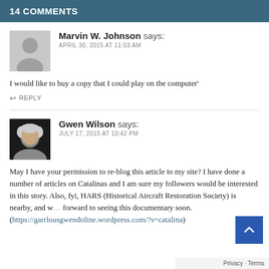14 COMMENTS
Marvin W. Johnson says:
APRIL 30, 2015 AT 11:03 AM
I would like to buy a copy that I could play on the computer'
↩ REPLY
Gwen Wilson says:
JULY 17, 2015 AT 10:42 PM
May I have your permission to re-blog this article to my site? I have done a number of articles on Catalinas and I am sure my followers would be interested in this story. Also, fyi, HARS (Historical Aircraft Restoration Society) is nearby, and w… forward to seeing this documentary soon. (https://garrlousgwendoline.wordpress.com/?s=catalina)